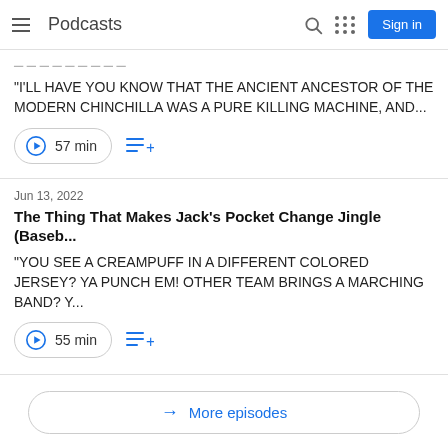Podcasts | Sign in
"I'LL HAVE YOU KNOW THAT THE ANCIENT ANCESTOR OF THE MODERN CHINCHILLA WAS A PURE KILLING MACHINE, AND...
57 min
Jun 13, 2022
The Thing That Makes Jack's Pocket Change Jingle (Baseb...
"YOU SEE A CREAMPUFF IN A DIFFERENT COLORED JERSEY? YA PUNCH EM! OTHER TEAM BRINGS A MARCHING BAND? Y...
55 min
More episodes